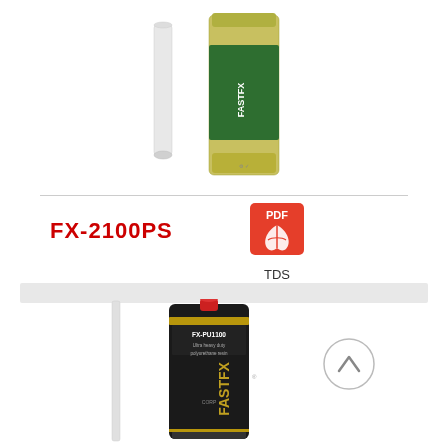[Figure (photo): Two-part epoxy cartridge product with mixing nozzle — FX-2100PS adhesive, light yellow/clear cartridge with green FASTFX label and a white mixing tip beside it]
FX-2100PS
[Figure (other): PDF icon (red) with text 'PDF' and an Acrobat logo symbol below, labeled 'TDS']
[Figure (photo): Two-part adhesive cartridge — dark/black cartridge labeled FX-PU1100 with FASTFX CORP branding, red mixing nozzle tip, and a white mixing stick beside it. A circular scroll-up arrow button is visible to the right.]